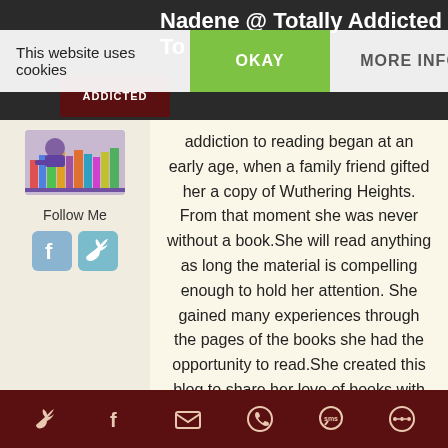Nadene @ Totally Addicted To Reading
This website uses cookies
OKAY
MORE INFO
Follow Me
addiction to reading began at an early age, when a family friend gifted her a copy of Wuthering Heights. From that moment she was never without a book.She will read anything as long the material is compelling enough to hold her attention. She gained many experiences through the pages of the books she had the opportunity to read.She created this blog to share her love of books with like minded individuals hopes that in sharing reviews of the books read visitors to the blog will discover their next addictive read. When not reading, Nadene enjoys
Twitter Facebook Email WhatsApp SMS Other